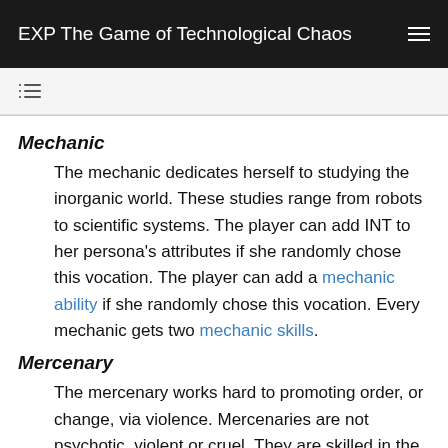EXP The Game of Technological Chaos
Mechanic
The mechanic dedicates herself to studying the inorganic world. These studies range from robots to scientific systems. The player can add INT to her persona's attributes if she randomly chose this vocation. The player can add a mechanic ability if she randomly chose this vocation. Every mechanic gets two mechanic skills.
Mercenary
The mercenary works hard to promoting order, or change, via violence. Mercenaries are not psychotic, violent or cruel. They are skilled in the art of war and weapons. The player can add PSTR to